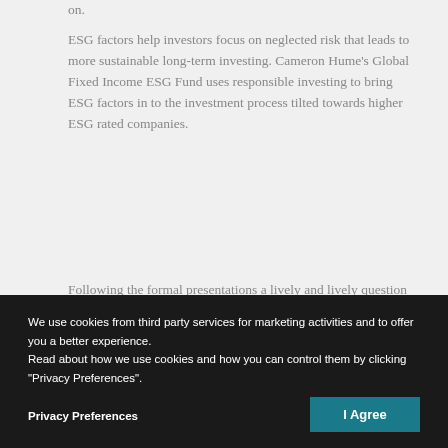on.
ESG factors help investors focus on neglected risk that leads to more sustainable long-term investing. Cameron Hume's Global Fixed Income ESG Fund uses responsible investing to bring ESG factors in to the investment process tilted towards higher ESG rated companies.
Following the formal presentations a lively and lively question and answer...
It is easier to influence sovereign... through the bond markets than...
We use cookies from third party services for marketing activities and to offer you a better experience. Read about how we use cookies and how you can control them by clicking "Privacy Preferences".